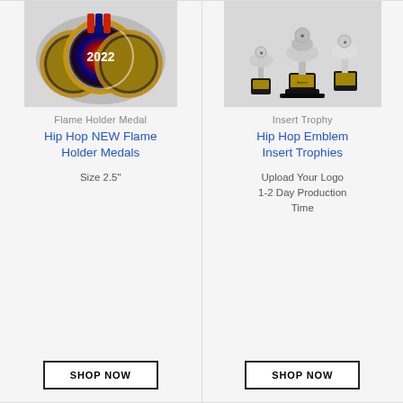[Figure (photo): Three overlapping colorful flame holder medals with '2022' text, gold bordered, multicolor holographic design]
Flame Holder Medal
Hip Hop NEW Flame Holder Medals
Size 2.5"
SHOP NOW
[Figure (photo): Insert trophy with multiple trophies shown, dark base with gold plate, decorative top pieces]
Insert Trophy
Hip Hop Emblem Insert Trophies
Upload Your Logo
1-2 Day Production Time
SHOP NOW